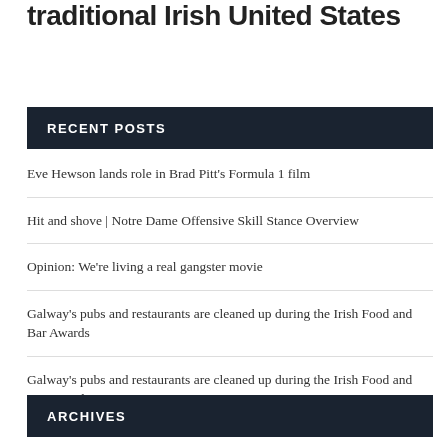traditional Irish United States
RECENT POSTS
Eve Hewson lands role in Brad Pitt's Formula 1 film
Hit and shove | Notre Dame Offensive Skill Stance Overview
Opinion: We're living a real gangster movie
Galway's pubs and restaurants are cleaned up during the Irish Food and Bar Awards
Galway's pubs and restaurants are cleaned up during the Irish Food and Bar Awards
ARCHIVES